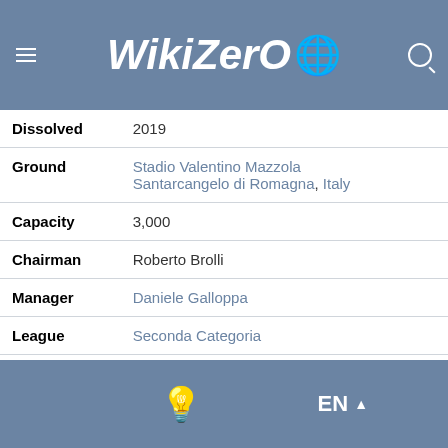WikiZero
| Dissolved | 2019 |
| Ground | Stadio Valentino Mazzola Santarcangelo di Romagna, Italy |
| Capacity | 3,000 |
| Chairman | Roberto Brolli |
| Manager | Daniele Galloppa |
| League | Seconda Categoria |
| 2021-22 | Terza Categoria Forlì-Cesena Group B, 1st (Promoted) |
| Website | Club website |
EN